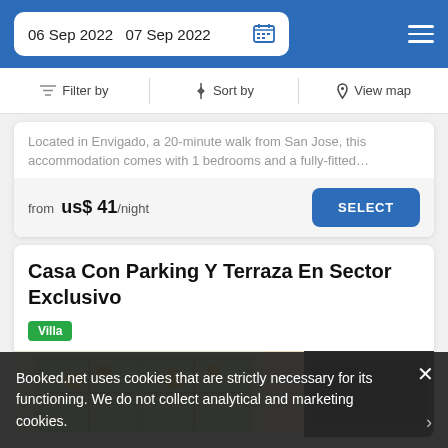06 Sep 2022  07 Sep 2022
Filter by  Sort by  View map
Located in Envigado, a 20-minute walk from San Jose, this accommodation comes with 1 bedrooms and a fully-fitted…
from us$ 41/night  SELECT
Casa Con Parking Y Terraza En Sector Exclusivo
Villa
[Figure (photo): Interior room photo showing window with green plants and a dark TV screen]
Booked.net uses cookies that are strictly necessary for its functioning. We do not collect analytical and marketing cookies.